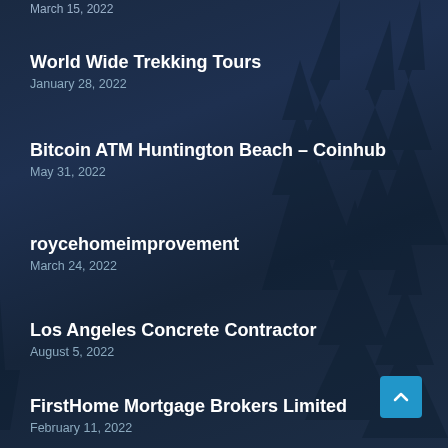March 15, 2022
World Wide Trekking Tours
January 28, 2022
Bitcoin ATM Huntington Beach – Coinhub
May 31, 2022
roycehomeimprovement
March 24, 2022
Los Angeles Concrete Contractor
August 5, 2022
FirstHome Mortgage Brokers Limited
February 11, 2022